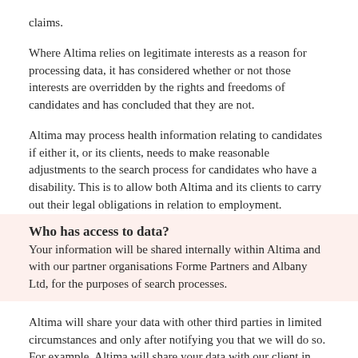claims.
Where Altima relies on legitimate interests as a reason for processing data, it has considered whether or not those interests are overridden by the rights and freedoms of candidates and has concluded that they are not.
Altima may process health information relating to candidates if either it, or its clients, needs to make reasonable adjustments to the search process for candidates who have a disability. This is to allow both Altima and its clients to carry out their legal obligations in relation to employment.
Who has access to data?
Your information will be shared internally within Altima and with our partner organisations Forme Partners and Albany Ltd, for the purposes of search processes.
Altima will share your data with other third parties in limited circumstances and only after notifying you that we will do so. For example, Altima will share your data with our client in